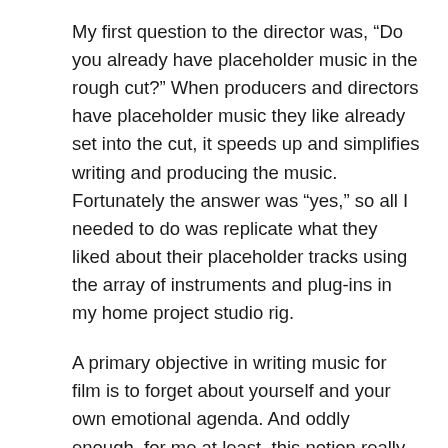My first question to the director was, “Do you already have placeholder music in the rough cut?” When producers and directors have placeholder music they like already set into the cut, it speeds up and simplifies writing and producing the music. Fortunately the answer was “yes,” so all I needed to do was replicate what they liked about their placeholder tracks using the array of instruments and plug-ins in my home project studio rig.
A primary objective in writing music for film is to forget about yourself and your own emotional agenda. And oddly enough, for me at least, this notion really speeds up the workflow because you are writing/producing for someone else’s purpose other than your own thoughts. Adamantly keeping this in mind throughout the writing/producing process helps to stay focused on what the client wants. For this song, it’s exactly what I had to do because the producers had a Tarantino-ish type track